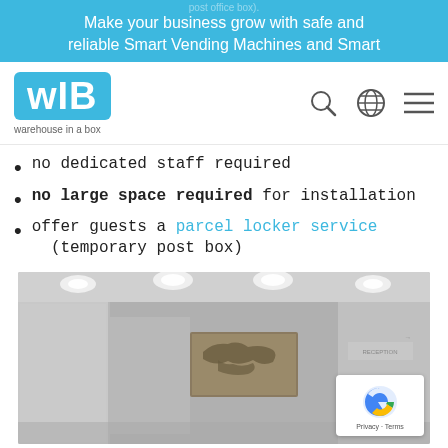Make your business grow with safe and reliable Smart Vending Machines and Smart
[Figure (logo): WIB (warehouse in a box) logo — white letters on blue rounded rectangle, with tagline 'warehouse in a box' below]
no dedicated staff required
no large space required for installation
offer guests a parcel locker service (temporary post box)
[Figure (photo): Grayscale photo of a hotel or office reception lobby interior with marble walls, overhead lights, a world map artwork on the wall, and a reception desk with signage]